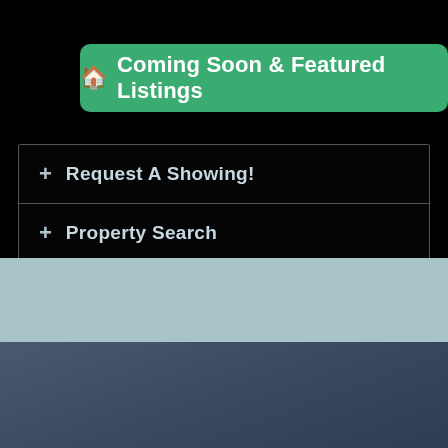Coming Soon & Featured Listings
+ Request A Showing!
+ Property Search